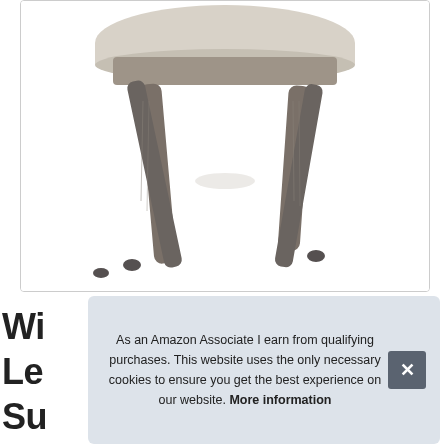[Figure (photo): Close-up photo of the lower portion of a mid-century modern dining chair showing four tapered dark grey/brown wooden legs and the underside of an upholstered seat in beige/grey fabric, on a white background.]
Wi
Le
Su
As an Amazon Associate I earn from qualifying purchases. This website uses the only necessary cookies to ensure you get the best experience on our website. More information